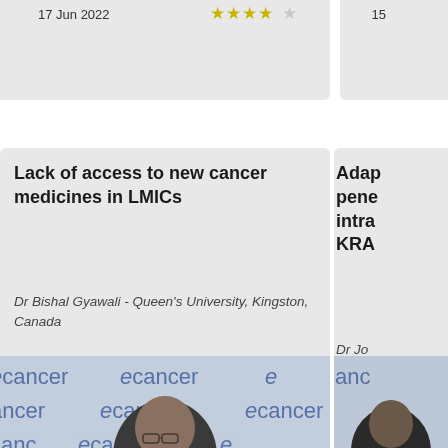17 Jun 2022  ★★★★☆
15
Lack of access to new cancer medicines in LMICs
Dr Bishal Gyawali - Queen's University, Kingston, Canada
[Figure (photo): Video thumbnail showing Dr Bishal Gyawali against ecancer branded backdrop with ecancer watermark text repeated. Date: 11 Jun 2022, rating: 5 stars.]
11 Jun 2022  ★★★★★
Adap pene intra KRA
Dr Jo Canc New
[Figure (photo): Partial video thumbnail on right side showing partial ecancer backdrop. Date: 10]
10